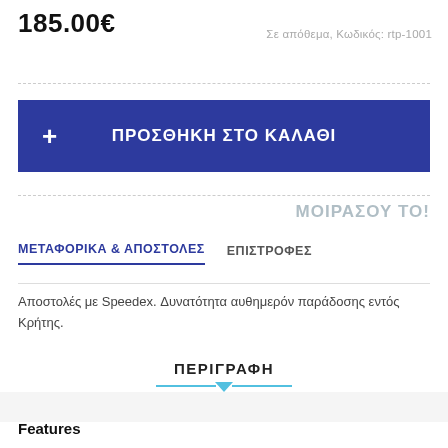185.00€
Σε απόθεμα, Κωδικός: rtp-1001
+ ΠΡΟΣΘΗΚΗ ΣΤΟ ΚΑΛΑΘΙ
ΜΟΙΡΑΣΟΥ ΤΟ!
ΜΕΤΑΦΟΡΙΚΑ & ΑΠΟΣΤΟΛΕΣ  ΕΠΙΣΤΡΟΦΕΣ
Αποστολές με Speedex. Δυνατότητα αυθημερόν παράδοσης εντός Κρήτης.
ΠΕΡΙΓΡΑΦΗ
Features